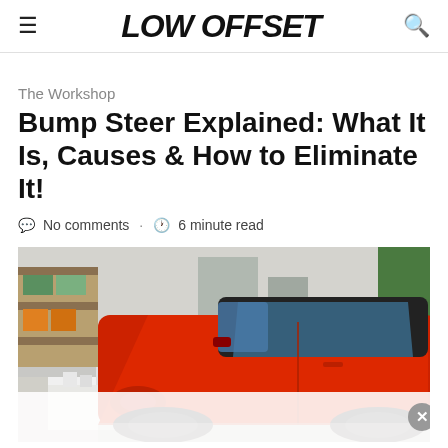LOW OFFSET
The Workshop
Bump Steer Explained: What It Is, Causes & How to Eliminate It!
No comments · 6 minute read
[Figure (photo): Red sports car (Ford Mustang) in a garage/workshop setting, shot from the front-left angle. Workshop shelving and equipment visible in background.]